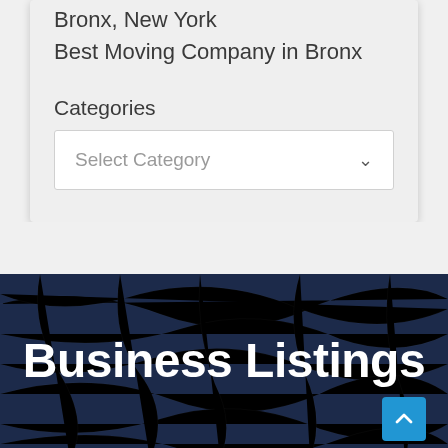Bronx, New York
Best Moving Company in Bronx
Categories
Select Category
Business Listings